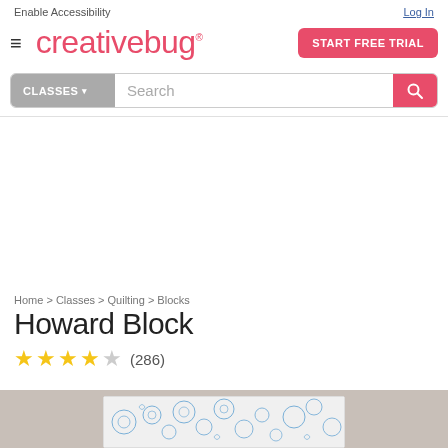Enable Accessibility | Log In | creativebug® | START FREE TRIAL
CLASSES ▾  Search
Home > Classes > Quilting > Blocks
Howard Block
★★★★☆  (286)
[Figure (photo): Partial view of a blue floral/bubble patterned fabric piece on a grey background]